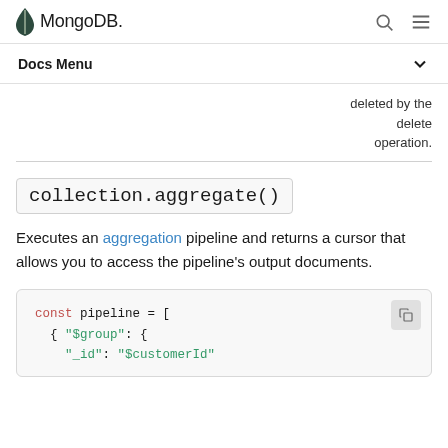MongoDB
Docs Menu
deleted by the delete operation.
collection.aggregate()
Executes an aggregation pipeline and returns a cursor that allows you to access the pipeline's output documents.
const pipeline = [
  { "$group": {
    "_id": "$customerId"